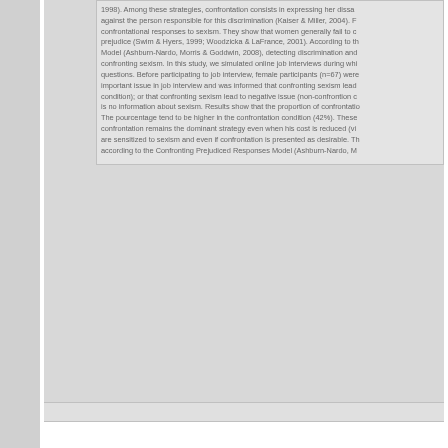1998). Among these strategies, confrontation consists in expressing her dissatisfaction against the person responsible for this discrimination (Kaiser & Miller, 2004). Few women use confrontational responses to sexism. They show that women generally fail to challenge prejudice (Swim & Hyers, 1999; Woodzicka & LaFrance, 2001). According to the CPR Model (Ashburn-Nardo, Morris & Goddwin, 2008), detecting discrimination and confronting sexism. In this study, we simulated online job interviews during which sexist questions. Before participating to job interview, female participants (n=67) were important issue in job interview and was informed that confronting sexism lead to positive condition); or that confronting sexism lead to negative issue (non-confrontation condition); is no information about sexism. Results show that the proportion of confrontation is low. The pourcentage tend to be higher in the confrontation condition (42%). These results suggest confrontation remains the dominant strategy even when his cost is reduced (via sensitization) are sensitized to sexism and even if confrontation is presented as desirable. These results according to the Confronting Prejudiced Responses Model (Ashburn-Nardo, M